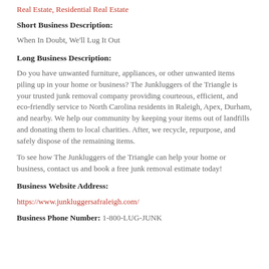Real Estate, Residential Real Estate
Short Business Description:
When In Doubt, We'll Lug It Out
Long Business Description:
Do you have unwanted furniture, appliances, or other unwanted items piling up in your home or business? The Junkluggers of the Triangle is your trusted junk removal company providing courteous, efficient, and eco-friendly service to North Carolina residents in Raleigh, Apex, Durham, and nearby. We help our community by keeping your items out of landfills and donating them to local charities. After, we recycle, repurpose, and safely dispose of the remaining items.
To see how The Junkluggers of the Triangle can help your home or business, contact us and book a free junk removal estimate today!
Business Website Address:
https://www.junkluggersafraleigh.com/
Business Phone Number: 1-800-LUG-JUNK